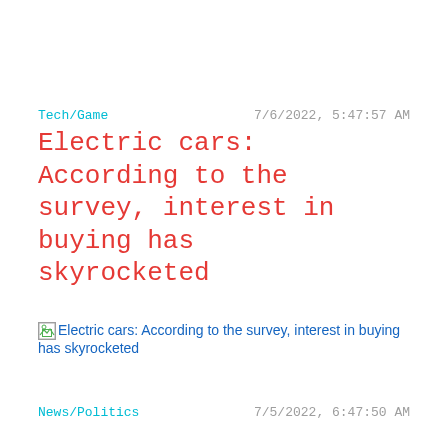Tech/Game	7/6/2022, 5:47:57 AM
Electric cars: According to the survey, interest in buying has skyrocketed
[Figure (photo): Broken/missing image placeholder with alt text: Electric cars: According to the survey, interest in buying has skyrocketed]
News/Politics	7/5/2022, 6:47:50 AM